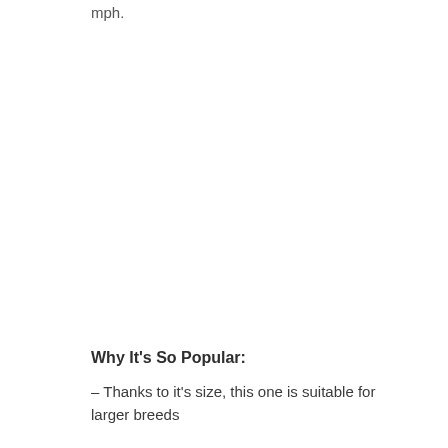mph.
Why It's So Popular:
– Thanks to it's size, this one is suitable for larger breeds